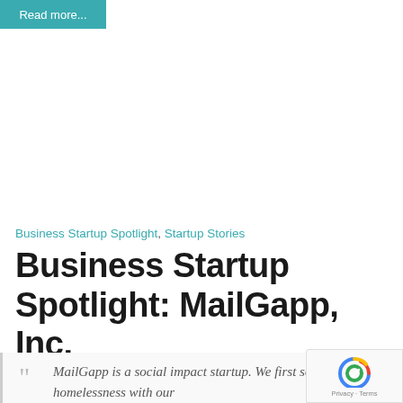Read more...
Business Startup Spotlight, Startup Stories
Business Startup Spotlight: MailGapp, Inc.
MailGapp is a social impact startup. We first sought to end homelessness with our